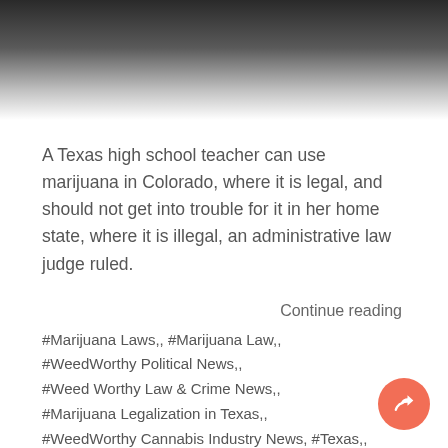[Figure (other): Dark gradient header image fading from dark gray/black at top to white at bottom]
A Texas high school teacher can use marijuana in Colorado, where it is legal, and should not get into trouble for it in her home state, where it is illegal, an administrative law judge ruled.
Continue reading
#Marijuana Laws,, #Marijuana Law,, #WeedWorthy Political News,, #Weed Worthy Law & Crime News,, #Marijuana Legalization in Texas,, #WeedWorthy Cannabis Industry News, #Texas,, #harsh marijuana laws,, #Colorado marijuana laws,,
Tags: #State conflict over marijuana laws,, #cannabis laws and rules,,